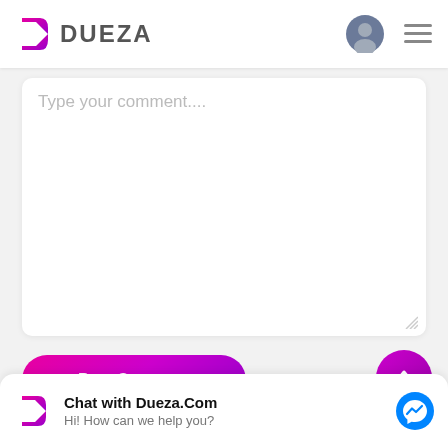DUEZA
Type your comment....
Post Comment
Chat with Dueza.Com
Hi! How can we help you?